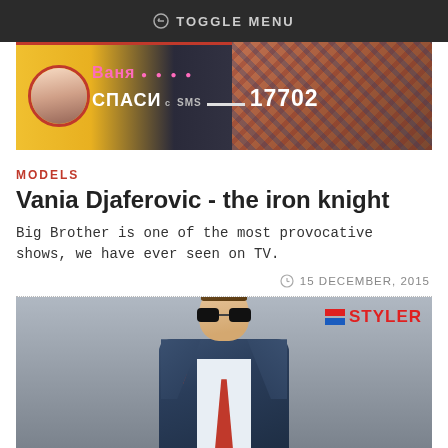TOGGLE MENU
[Figure (screenshot): TV show screenshot with Cyrillic text showing a contestant named Ваня, with text СПАСИ and number 17702, overlaid on a colorful game show background with a man in plaid shirt on right]
MODELS
Vania Djaferovic - the iron knight
Big Brother is one of the most provocative shows, we have ever seen on TV.
15 DECEMBER, 2015
[Figure (photo): Fashion photo of a young man wearing sunglasses and a blue suit jacket with a red pocket square and red tie, with Styler logo in top right corner, grey background]